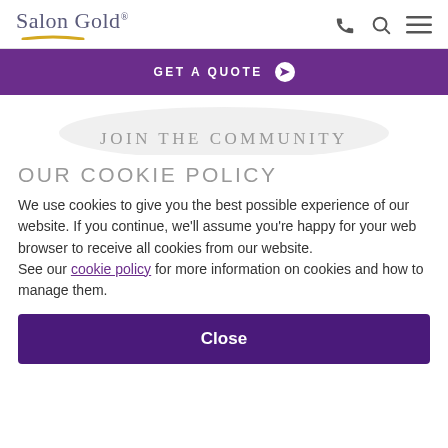Salon Gold®
GET A QUOTE ➔
JOIN THE COMMUNITY
OUR COOKIE POLICY
We use cookies to give you the best possible experience of our website. If you continue, we'll assume you're happy for your web browser to receive all cookies from our website.
See our cookie policy for more information on cookies and how to manage them.
Close